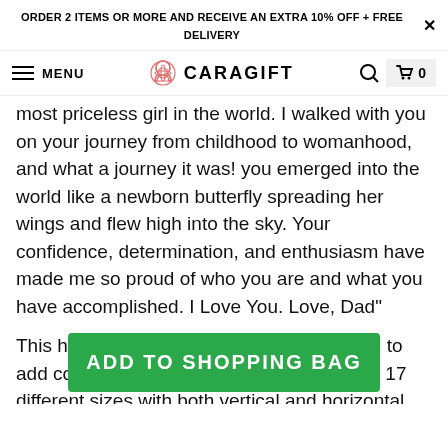ORDER 2 ITEMS OR MORE AND RECEIVE AN EXTRA 10% OFF + FREE DELIVERY
MENU CARAGIFT 0
most priceless girl in the world. I walked with you on your journey from childhood to womanhood, and what a journey it was! you emerged into the world like a newborn butterfly spreading her wings and flew high into the sky. Your confidence, determination, and enthusiasm have made me so proud of who you are and what you have accomplished. I Love You. Love, Dad"
This high-quality matte canvas can be used to add color and life to any space. Available in 17 different sizes with both vertical and horizontal orientations. The matte canvas features state-of-the-art printing technology for sharp photographic reproduction and
ADD TO SHOPPING BAG